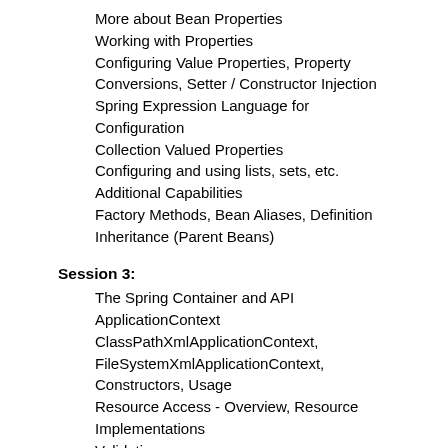More about Bean Properties
Working with Properties
Configuring Value Properties, Property Conversions, Setter / Constructor Injection
Spring Expression Language for Configuration
Collection Valued Properties
Configuring and using lists, sets, etc.
Additional Capabilities
Factory Methods, Bean Aliases, Definition Inheritance (Parent Beans)
Session 3:
The Spring Container and API
ApplicationContext
ClassPathXmlApplicationContext, FileSystemXmlApplicationContext, Constructors, Usage
Resource Access - Overview, Resource Implementations
Validation
Overview, JSR-303